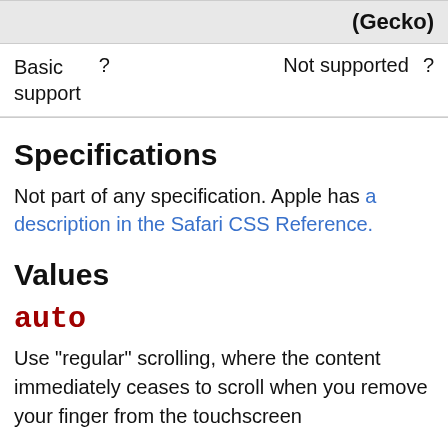|  |  | (Gecko) |  | Not supported | ? |
| --- | --- | --- | --- | --- | --- |
| Basic support | ? |  |  | Not supported | ? |
Specifications
Not part of any specification. Apple has a description in the Safari CSS Reference.
Values
auto
Use "regular" scrolling, where the content immediately ceases to scroll when you remove your finger from the touchscreen